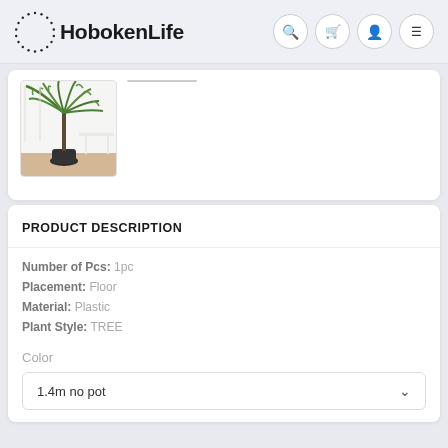HobokenLife
[Figure (photo): A tall artificial palm/fern tree in a dark pot, placed in a bright indoor setting with white walls and wooden floor.]
PRODUCT DESCRIPTION
Number of Pcs: 1pc
Placement: Floor
Material: Plastic
Plant Style: TREE
Color
1.4m no pot